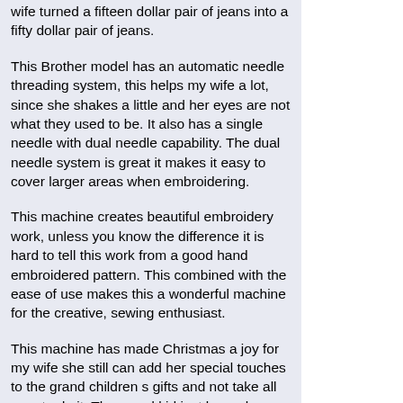wife turned a fifteen dollar pair of jeans into a fifty dollar pair of jeans.
This Brother model has an automatic needle threading system, this helps my wife a lot, since she shakes a little and her eyes are not what they used to be. It also has a single needle with dual needle capability. The dual needle system is great it makes it easy to cover larger areas when embroidering.
This machine creates beautiful embroidery work, unless you know the difference it is hard to tell this work from a good hand embroidered pattern. This combined with the ease of use makes this a wonderful machine for the creative, sewing enthusiast.
This machine has made Christmas a joy for my wife she still can add her special touches to the grand children s gifts and not take all year to do it. The grand kid just love when their grandmother puts their favorite cartoon characters on their sweat shirts, jeans and anything else she can put embroidery on.
The Brother Innov-is 1000 has a very good warranty and of course Brothers outstanding customer service all combine to give you peace